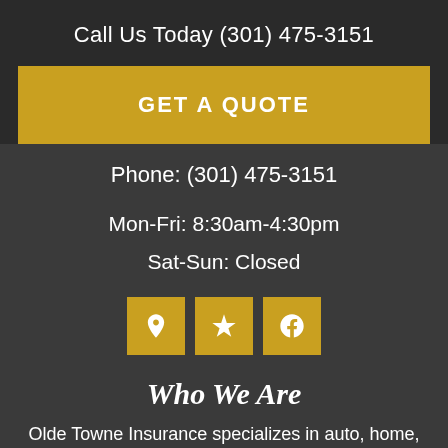Call Us Today (301) 475-3151
GET A QUOTE
Phone: (301) 475-3151
Mon-Fri: 8:30am-4:30pm
Sat-Sun: Closed
[Figure (infographic): Three gold square icon buttons: location pin, Yelp star, and Facebook logo]
Who We Are
Olde Towne Insurance specializes in auto, home, business, and life insurance for all of Maryland...